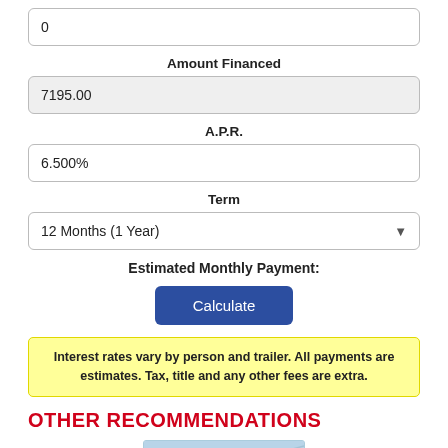0
Amount Financed
7195.00
A.P.R.
6.500%
Term
12 Months (1 Year)
Estimated Monthly Payment:
Calculate
Interest rates vary by person and trailer. All payments are estimates. Tax, title and any other fees are extra.
OTHER RECOMMENDATIONS
[Figure (photo): SHARP brand image/logo at bottom of page]